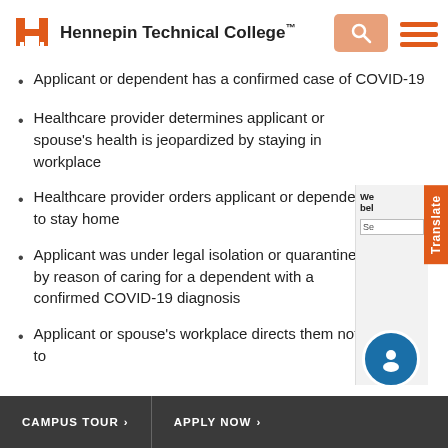[Figure (logo): Hennepin Technical College logo with orange H icon and college name]
[Figure (screenshot): Navigation area with orange search button and orange hamburger menu icon]
Applicant or dependent has a confirmed case of COVID-19
Healthcare provider determines applicant or spouse's health is jeopardized by staying in workplace
Healthcare provider orders applicant or dependent to stay home
Applicant was under legal isolation or quarantine by reason of caring for a dependent with a confirmed COVID-19 diagnosis
Applicant or spouse's workplace directs them not to
CAMPUS TOUR >  APPLY NOW >